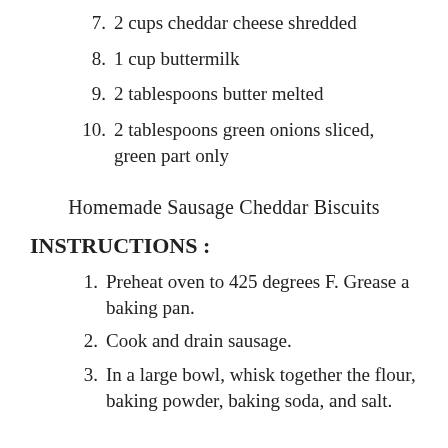7. 2 cups cheddar cheese shredded
8. 1 cup buttermilk
9. 2 tablespoons butter melted
10. 2 tablespoons green onions sliced, green part only
Homemade Sausage Cheddar Biscuits
INSTRUCTIONS :
1. Preheat oven to 425 degrees F. Grease a baking pan.
2. Cook and drain sausage.
3. In a large bowl, whisk together the flour, baking powder, baking soda, and salt.